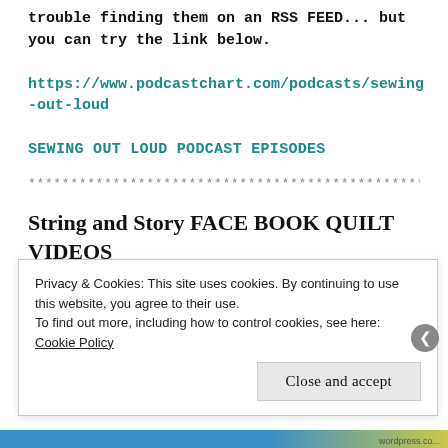trouble finding them on an RSS FEED... but you can try the link below.
https://www.podcastchart.com/podcasts/sewing-out-loud
SEWING OUT LOUD PODCAST EPISODES
************************************************
String and Story FACE BOOK QUILT VIDEOS
Privacy & Cookies: This site uses cookies. By continuing to use this website, you agree to their use.
To find out more, including how to control cookies, see here: Cookie Policy
Close and accept